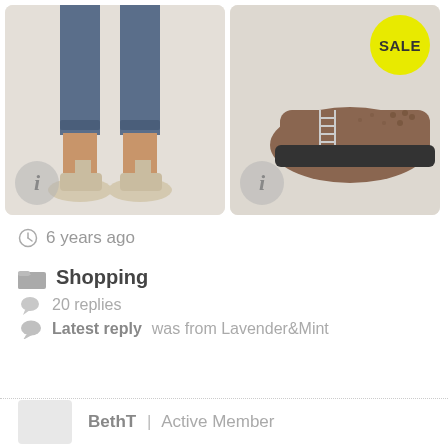[Figure (photo): Two product images side by side: left shows women's beige peep-toe heels with jeans, with an info badge; right shows brown suede brogue shoes with a yellow SALE badge and an info badge]
6 years ago
Shopping
20 replies
Latest reply was from Lavender&Mint
BethT | Active Member